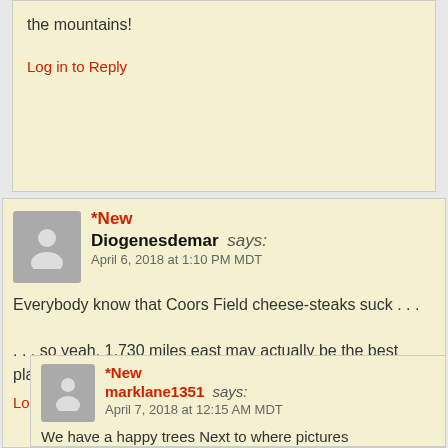the mountains!
Log in to Reply
*New
Diogenesdemar says:
April 6, 2018 at 1:10 PM MDT
Everybody know that Coors Field cheese-steaks suck . . .
. . . so yeah, 1,730 miles east may actually be the best place to watch Dinger from.  Now about the parking? . . .
Log in to Reply
*New
marklane1351 says:
April 7, 2018 at 12:15 AM MDT
We have a happy trees Next to where pictures